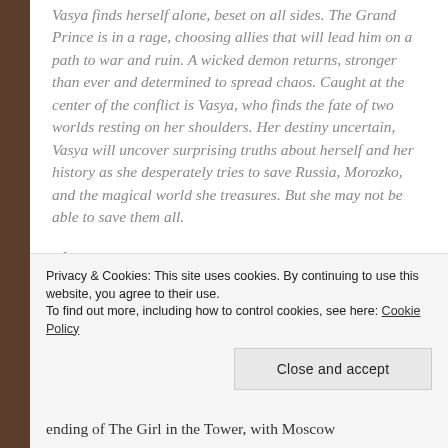Vasya finds herself alone, beset on all sides. The Grand Prince is in a rage, choosing allies that will lead him on a path to war and ruin. A wicked demon returns, stronger than ever and determined to spread chaos. Caught at the center of the conflict is Vasya, who finds the fate of two worlds resting on her shoulders. Her destiny uncertain, Vasya will uncover surprising truths about herself and her history as she desperately tries to save Russia, Morozko, and the magical world she treasures. But she may not be able to save them all.
I finished reading this book over a week ago and yet Vasya's story and the ending, to what has become one of my all time favourite series, is still ingrained in
Privacy & Cookies: This site uses cookies. By continuing to use this website, you agree to their use.
To find out more, including how to control cookies, see here: Cookie Policy
Close and accept
ending of The Girl in the Tower, with Moscow